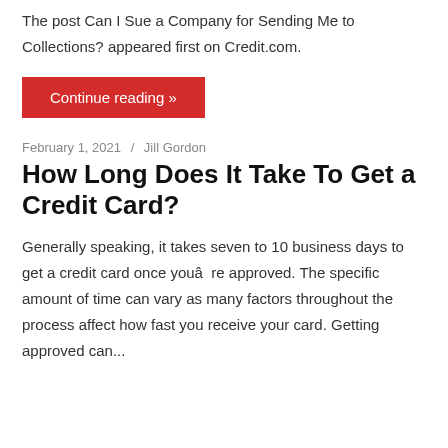The post Can I Sue a Company for Sending Me to Collections? appeared first on Credit.com.
Continue reading »
February 1, 2021  /  Jill Gordon
How Long Does It Take To Get a Credit Card?
Generally speaking, it takes seven to 10 business days to get a credit card once youâ  re approved. The specific amount of time can vary as many factors throughout the process affect how fast you receive your card. Getting approved can...